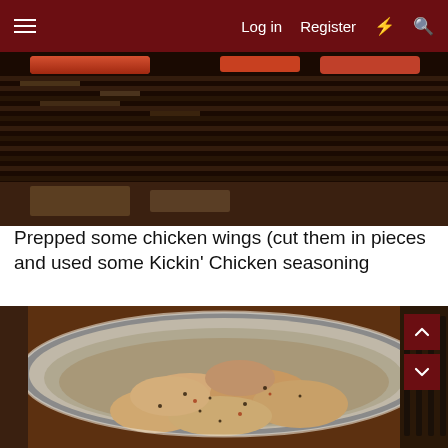Log in  Register
[Figure (photo): Photo of a grill with grates showing meat cooking at the top, with dark grill grates and reflective surfaces visible below]
Prepped some chicken wings (cut them in pieces and used some Kickin' Chicken seasoning
[Figure (photo): Photo of raw seasoned chicken wings in a large stainless steel mixing bowl, with black pepper and spice seasoning visible on the pieces]